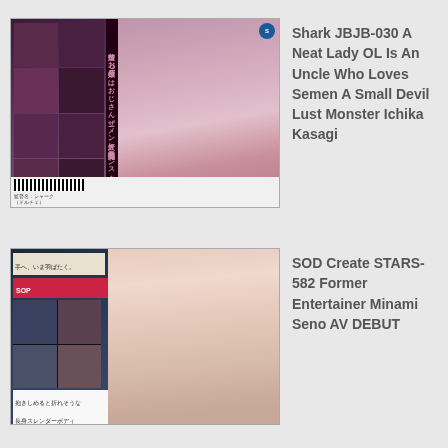[Figure (photo): Product cover image for Shark JBJB-030, showing Japanese DVD/video product packaging with collage of scenes on left and model photo on right]
Shark JBJB-030 A Neat Lady OL Is An Uncle Who Loves Semen A Small Devil Lust Monster Ichika Kasagi
[Figure (photo): Product cover image for SOD Create STARS-582, showing Japanese DVD/video product packaging with scenes on left and model photo on right]
SOD Create STARS-582 Former Entertainer Minami Seno AV DEBUT